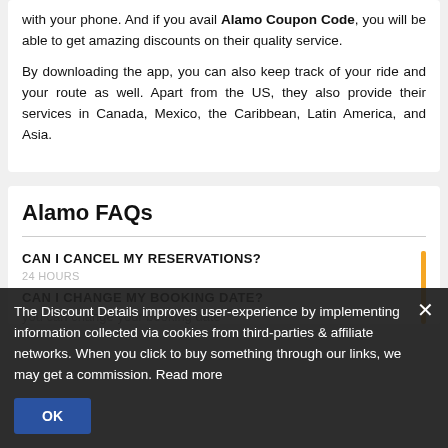with your phone. And if you avail Alamo Coupon Code, you will be able to get amazing discounts on their quality service.
By downloading the app, you can also keep track of your ride and your route as well. Apart from the US, they also provide their services in Canada, Mexico, the Caribbean, Latin America, and Asia.
Alamo FAQs
CAN I CANCEL MY RESERVATIONS?
CAN I CHANGE MY BOOKING DATE?
you can change your booking date
The Discount Details improves user-experience by implementing information collected via cookies from third-parties & affiliate networks. When you click to buy something through our links, we may get a commission. Read more